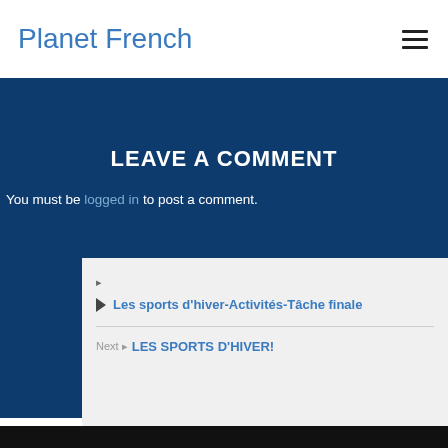Planet French
LEAVE A COMMENT
You must be logged in to post a comment.
Les sports d'hiver-Activités-Tâche finale
LES SPORTS D'HIVER!